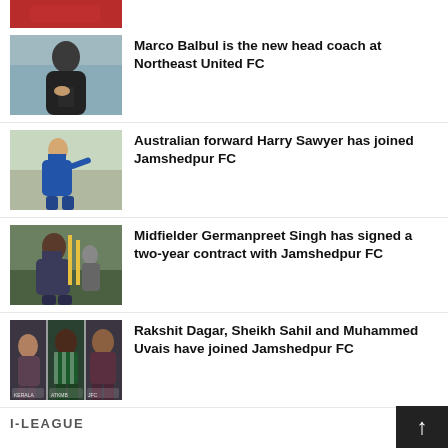[Figure (photo): Partial red-jersey football player photo at top]
[Figure (photo): Marco Balbul in dark jacket with hand on chest]
Marco Balbul is the new head coach at Northeast United FC
[Figure (photo): Australian forward Harry Sawyer in blue kit on training pitch]
Australian forward Harry Sawyer has joined Jamshedpur FC
[Figure (photo): Midfielder Germanpreet Singh in Jamshedpur FC kit]
Midfielder Germanpreet Singh has signed a two-year contract with Jamshedpur FC
[Figure (photo): Three player photos: Rakshit Dagar, Sheikh Sahil, Muhammed Uvais]
Rakshit Dagar, Sheikh Sahil and Muhammed Uvais have joined Jamshedpur FC
I-LEAGUE